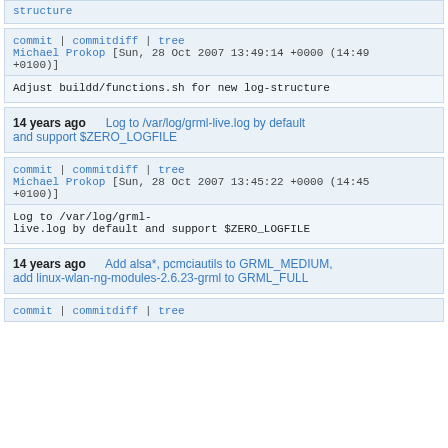structure
commit | commitdiff | tree
Michael Prokop [Sun, 28 Oct 2007 13:49:14 +0000 (14:49 +0100)]
Adjust buildd/functions.sh for new log-structure
14 years ago      Log to /var/log/grml-live.log by default and support $ZERO_LOGFILE
commit | commitdiff | tree
Michael Prokop [Sun, 28 Oct 2007 13:45:22 +0000 (14:45 +0100)]
Log to /var/log/grml-
live.log by default and support $ZERO_LOGFILE
14 years ago      Add alsa*, pcmciautils to GRML_MEDIUM, add linux-wlan-ng-modules-2.6.23-grml to GRML_FULL
commit...